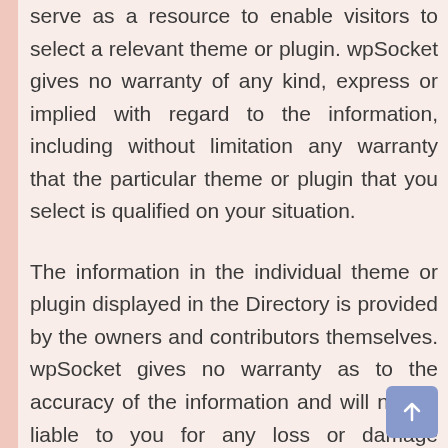serve as a resource to enable visitors to select a relevant theme or plugin. wpSocket gives no warranty of any kind, express or implied with regard to the information, including without limitation any warranty that the particular theme or plugin that you select is qualified on your situation.
The information in the individual theme or plugin displayed in the Directory is provided by the owners and contributors themselves. wpSocket gives no warranty as to the accuracy of the information and will not be liable to you for any loss or damage suffered by you as a consequence of your reliance on the information.